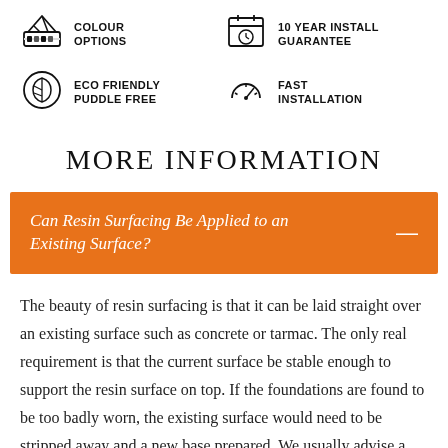[Figure (infographic): Four icons with labels: COLOUR OPTIONS (paint palette icon), 10 YEAR INSTALL GUARANTEE (calendar/clock icon), ECO FRIENDLY PUDDLE FREE (leaf icon), FAST INSTALLATION (speedometer icon)]
MORE INFORMATION
Can Resin Surfacing Be Applied to an Existing Surface?
The beauty of resin surfacing is that it can be laid straight over an existing surface such as concrete or tarmac. The only real requirement is that the current surface be stable enough to support the resin surface on top. If the foundations are found to be too badly worn, the existing surface would need to be stripped away and a new base prepared. We usually advise a new base as this ensures a